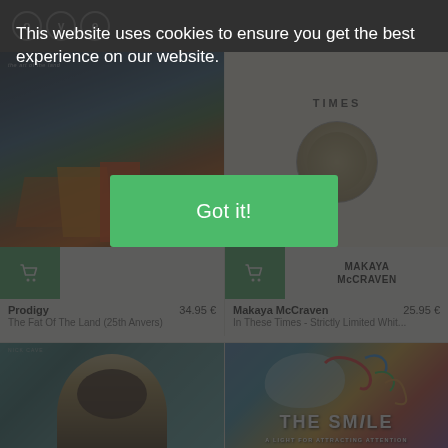OYE Records - website header with logo and navigation
This website uses cookies to ensure you get the best experience on our website.
Got it!
[Figure (photo): Album cover for Prodigy - The Fat Of The Land (25th Anvers), dark action/flames scene]
[Figure (photo): Album cover for Makaya McCraven - In These Times, cream/beige with TIMES text and circular graphic, Makaya McCraven text]
Prodigy
34.95 €
The Fat Of The Land (25th Anvers)
Makaya McCraven
25.95 €
In These Times - Strictly Limited Whit...
[Figure (photo): Portrait album cover, vintage black and white photo of a man with dark hair on teal/turquoise background]
[Figure (photo): Album cover for The Smile - A Light For Attracting Attention, colorful illustrated artwork with text]